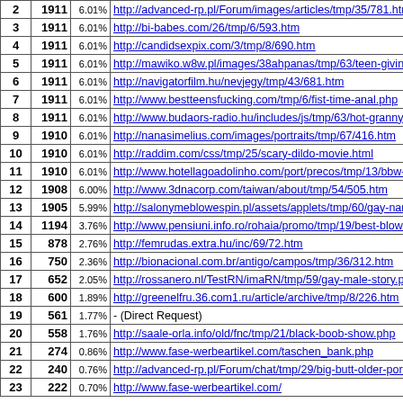| # | Count | % | URL |
| --- | --- | --- | --- |
| 2 | 1911 | 6.01% | http://advanced-rp.pl/Forum/images/articles/tmp/35/781.htm |
| 3 | 1911 | 6.01% | http://bi-babes.com/26/tmp/6/593.htm |
| 4 | 1911 | 6.01% | http://candidsexpix.com/3/tmp/8/690.htm |
| 5 | 1911 | 6.01% | http://mawiko.w8w.pl/images/38ahpanas/tmp/63/teen-giving-hand-j... |
| 6 | 1911 | 6.01% | http://navigatorfilm.hu/nevjegy/tmp/43/681.htm |
| 7 | 1911 | 6.01% | http://www.bestteensfucking.com/tmp/6/fist-time-anal.php |
| 8 | 1911 | 6.01% | http://www.budaors-radio.hu/includes/js/tmp/63/hot-granny-free-vid... |
| 9 | 1910 | 6.01% | http://nanasimelius.com/images/portraits/tmp/67/416.htm |
| 10 | 1910 | 6.01% | http://raddim.com/css/tmp/25/scary-dildo-movie.html |
| 11 | 1910 | 6.01% | http://www.hotellagoadolinho.com/port/precos/tmp/13/bbw-free-girl... |
| 12 | 1908 | 6.00% | http://www.3dnacorp.com/taiwan/about/tmp/54/505.htm |
| 13 | 1905 | 5.99% | http://salonymeblowespin.pl/assets/applets/tmp/60/gay-naruto-henta... |
| 14 | 1194 | 3.76% | http://www.pensiuni.info.ro/rohaia/promo/tmp/19/best-blow-job-trai... |
| 15 | 878 | 2.76% | http://femrudas.extra.hu/inc/69/72.htm |
| 16 | 750 | 2.36% | http://bionacional.com.br/antigo/campos/tmp/36/312.htm |
| 17 | 652 | 2.05% | http://rossanero.nl/TestRN/imaRN/tmp/59/gay-male-story.php |
| 18 | 600 | 1.89% | http://greenelfru.36.com1.ru/article/archive/tmp/8/226.htm |
| 19 | 561 | 1.77% | - (Direct Request) |
| 20 | 558 | 1.76% | http://saale-orla.info/old/fnc/tmp/21/black-boob-show.php |
| 21 | 274 | 0.86% | http://www.fase-werbeartikel.com/taschen_bank.php |
| 22 | 240 | 0.76% | http://advanced-rp.pl/Forum/chat/tmp/29/big-butt-older-porn-woman... |
| 23 | 222 | 0.70% | http://www.fase-werbeartikel.com/ |